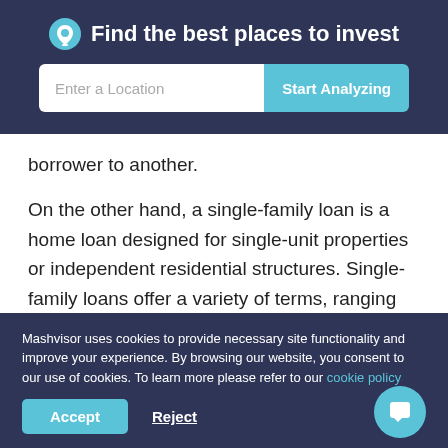Find the best places to invest
borrower to another.
On the other hand, a single-family loan is a home loan designed for single-unit properties or independent residential structures. Single-family loans offer a variety of terms, ranging from five years to 30 years. Also, the amount of loan provided for single-family financing is typically lower than the loan amount provided for multifamily
Mashvisor uses cookies to provide necessary site functionality and improve your experience. By browsing our website, you consent to our use of cookies. To learn more please refer to our cookie policy